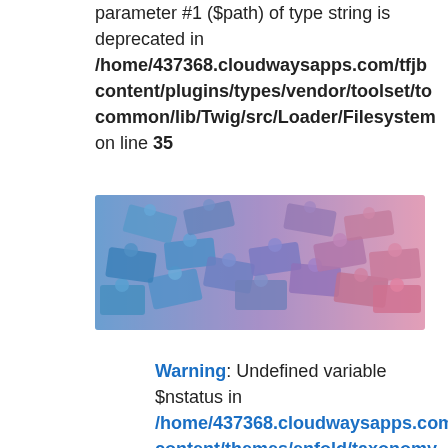parameter #1 ($path) of type string is deprecated in /home/437368.cloudwaysapps.com/tfjb content/plugins/types/vendor/toolset/to common/lib/Twig/src/Loader/Filesystem on line 35
[Figure (photo): Colorful LEGO-style bricks arranged in a gradient from blue on the left to pink/purple on the right]
Warning: Undefined variable $nstatus in /home/437368.cloudwaysapps.com/h content/themes/enfold/taxonomy-